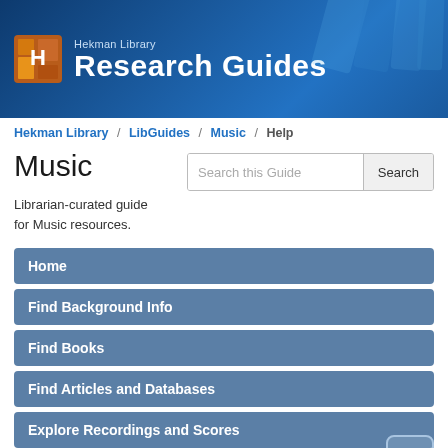[Figure (logo): Hekman Library Research Guides banner with logo and blue gradient background with decorative rectangles]
Hekman Library / LibGuides / Music / Help
Music
Librarian-curated guide for Music resources.
Home
Find Background Info
Find Books
Find Articles and Databases
Explore Recordings and Scores
Explore Opera and Theatre
Help